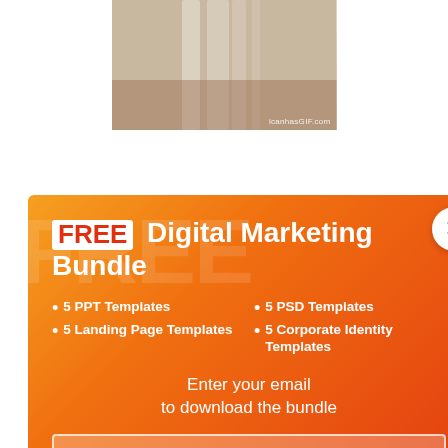[Figure (photo): A blurry photo of what appears to be fabric or clothing with an 'icanhasGIF.com' watermark in the bottom right corner]
[Figure (infographic): A popup advertisement with an orange-to-red gradient background. Title reads 'FREE Digital Marketing Bundle'. Features listed: 5 PPT Templates, 5 PSD Templates, 5 Landing Page Templates, 5 Corporate Identity Templates. Contains email input field, 'Get Bundle' button, and a close X button.]
...void in 2017
...r Stronger SEO
...Debunk
SEO tactics that will See Your SME Dominate
Search Engines in 2017